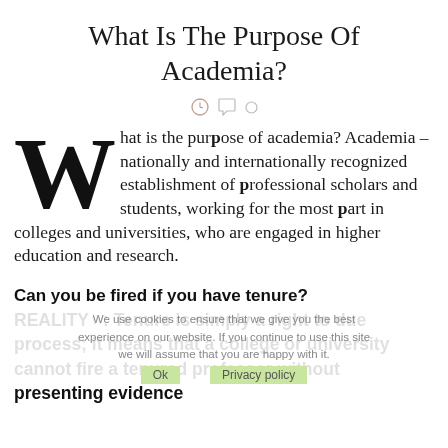What Is The Purpose Of Academia?
[Figure (other): Social sharing icons row: clock icon, speech bubble icon, circle icon]
What is the purpose of academia? Academia – nationally and internationally recognized establishment of professional scholars and students, working for the most part in colleges and universities, who are engaged in higher education and research.
Can you be fired if you have tenure?
We use cookies to ensure that we give you the best experience on our website. If you continue to use this site we will assume that you are happy with it.
REALITY: Tenure is simply a right to due process; it means that a college or university cannot fire a tenured professor without presenting evidence